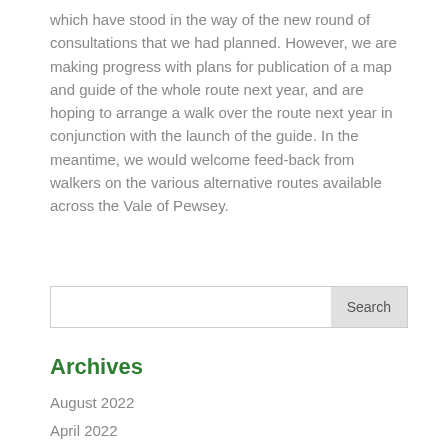which have stood in the way of the new round of consultations that we had planned.  However, we are making progress with plans for publication of a map and guide of the whole route next year, and are hoping to arrange a walk over the route next year in conjunction with the launch of the guide. In the meantime, we would welcome feed-back from walkers on the various alternative routes available across the Vale of Pewsey.
Search
Archives
August 2022
April 2022